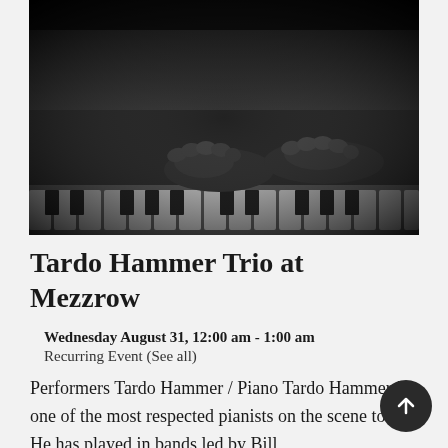[Figure (photo): Black and white photograph of hands playing piano keys, shot from above at an angle, dramatic dark background]
Tardo Hammer Trio at Mezzrow
Wednesday August 31, 12:00 am - 1:00 am
Recurring Event (See all)
Performers Tardo Hammer / Piano Tardo Hammer is one of the most respected pianists on the scene today. He has played in bands led by Bill